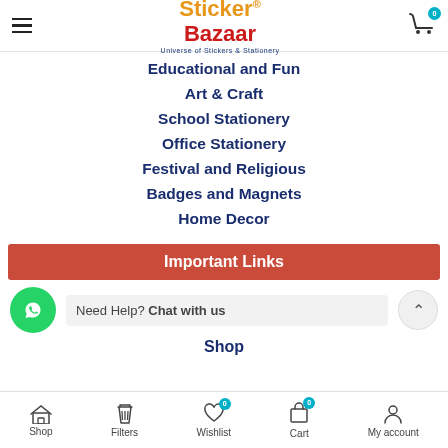Sticker Bazaar – Universe of Stickers & Stationery
Educational and Fun
Art & Craft
School Stationery
Office Stationery
Festival and Religious
Badges and Magnets
Home Decor
Important Links
Need Help? Chat with us
Shop
Shop  Filters  Wishlist 0  Cart 0  My account